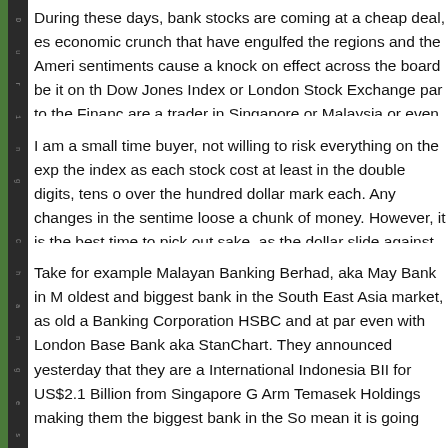During these days, bank stocks are coming at a cheap deal, es economic crunch that have engulfed the regions and the Ameri sentiments cause a knock on effect across the board be it on th Dow Jones Index or London Stock Exchange par to the Financ are a trader in Singapore or Malaysia or even Hong Kong, stoc as 34% over the last 30 days.
I am a small time buyer, not willing to risk everything on the exp the index as each stock cost at least in the double digits, tens o over the hundred dollar mark each. Any changes in the sentime loose a chunk of money. However, it is the best time to pick out sake, as the dollar slide against the other currencies and the in gradual as possible.
Take for example Malayan Banking Berhad, aka May Bank in M oldest and biggest bank in the South East Asia market, as old a Banking Corporation HSBC and at par even with London Base Bank aka StanChart. They announced yesterday that they are a International Indonesia BII for US$2.1 Billion from Singapore G Arm Temasek Holdings making them the biggest bank in the So mean it is going up? Supposingly. However, due to poor marke the fact that the bank will be using up all their financial backin